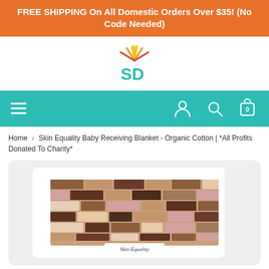FREE SHIPPING On All Domestic Orders Over $35! (No Code Needed)
[Figure (logo): SD logo with sunburst rays in yellow, orange, red above teal letters SD]
[Figure (infographic): Teal navigation bar with hamburger menu on left, and user/search/cart icons on right]
Home > Skin Equality Baby Receiving Blanket - Organic Cotton | *All Profits Donated To Charity*
[Figure (photo): Photo of a folded baby receiving blanket with multi-toned skin-color brick pattern in shades of brown, beige, pink, and dark brown. A label reads 'Skin Equality'.]